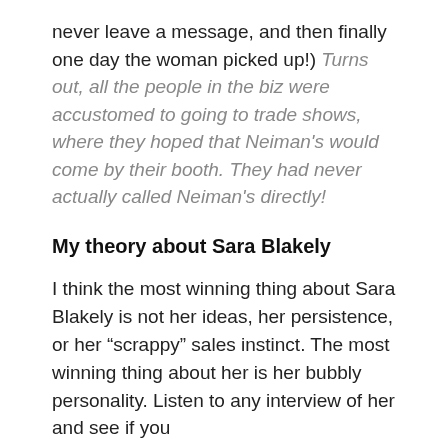never leave a message, and then finally one day the woman picked up!) Turns out, all the people in the biz were accustomed to going to trade shows, where they hoped that Neiman's would come by their booth. They had never actually called Neiman's directly!
My theory about Sara Blakely
I think the most winning thing about Sara Blakely is not her ideas, her persistence, or her “scrappy” sales instinct. The most winning thing about her is her bubbly personality. Listen to any interview of her and see if you